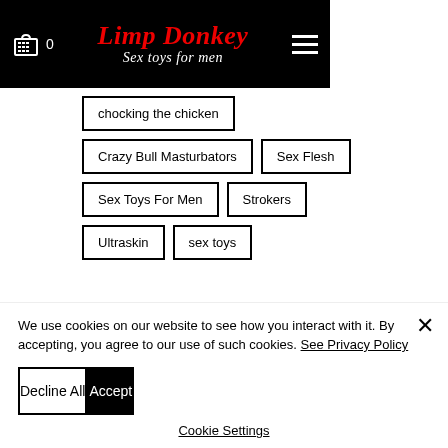Limp Donkey — Sex toys for men (header with cart and hamburger menu)
chocking the chicken
Crazy Bull Masturbators
Sex Flesh
Sex Toys For Men
Strokers
Ultraskin
sex toys
We use cookies on our website to see how you interact with it. By accepting, you agree to our use of such cookies. See Privacy Policy
Decline All | Accept
Cookie Settings